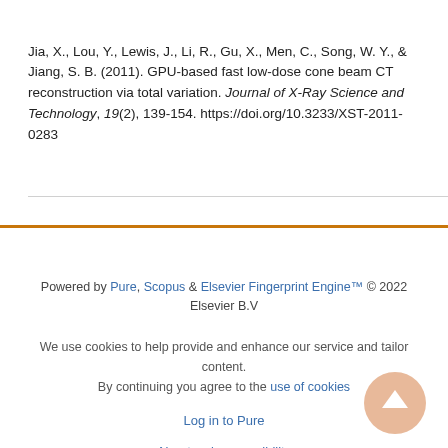Jia, X., Lou, Y., Lewis, J., Li, R., Gu, X., Men, C., Song, W. Y., & Jiang, S. B. (2011). GPU-based fast low-dose cone beam CT reconstruction via total variation. Journal of X-Ray Science and Technology, 19(2), 139-154. https://doi.org/10.3233/XST-2011-0283
Powered by Pure, Scopus & Elsevier Fingerprint Engine™ © 2022 Elsevier B.V
We use cookies to help provide and enhance our service and tailor content. By continuing you agree to the use of cookies
Log in to Pure
About web accessibility